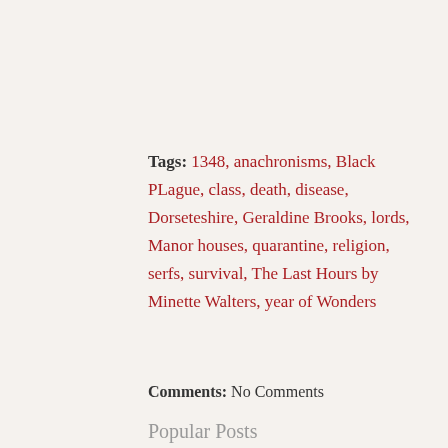Tags: 1348, anachronisms, Black PLague, class, death, disease, Dorseteshire, Geraldine Brooks, lords, Manor houses, quarantine, religion, serfs, survival, The Last Hours by Minette Walters, year of Wonders
Comments: No Comments
Popular Posts